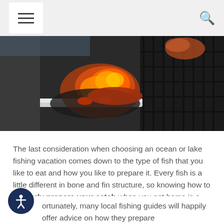≡  🔍
[Figure (photo): Close-up photo of fish or food being cooked on a grill with open flames and grill grates visible]
The last consideration when choosing an ocean or lake fishing vacation comes down to the type of fish that you like to eat and how you like to prepare it. Every fish is a little different in bone and fin structure, so knowing how to properly prepare your catch when you get home is a great way to round out your experience.
ortunately, many local fishing guides will happily offer advice on how they prepare